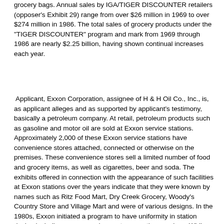grocery bags. Annual sales by IGA/TIGER DISCOUNTER retailers (opposer's Exhibit 29) range from over $26 million in 1969 to over $274 million in 1986. The total sales of grocery products under the "TIGER DISCOUNTER" program and mark from 1969 through 1986 are nearly $2.25 billion, having shown continual increases each year.
Applicant, Exxon Corporation, assignee of H & H Oil Co., Inc., is, as applicant alleges and as supported by applicant's testimony, basically a petroleum company. At retail, petroleum products such as gasoline and motor oil are sold at Exxon service stations. Approximately 2,000 of these Exxon service stations have convenience stores attached, connected or otherwise on the premises. These convenience stores sell a limited number of food and grocery items, as well as cigarettes, beer and soda. The exhibits offered in connection with the appearance of such facilities at Exxon stations over the years indicate that they were known by names such as Ritz Food Mart, Dry Creek Grocery, Woody's Country Store and Village Mart and were of various designs. In the 1980s, Exxon initiated a program to have uniformity in station design including any convenience stores on the premises. While the buildings were coordinated in design, the stores apparently continued to have